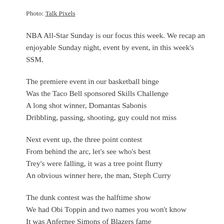Photo: Talk Pixels
NBA All-Star Sunday is our focus this week. We recap an enjoyable Sunday night, event by event, in this week’s SSM.
The premiere event in our basketball binge
Was the Taco Bell sponsored Skills Challenge
A long shot winner, Domantas Sabonis
Dribbling, passing, shooting, guy could not miss
Next event up, the three point contest
From behind the arc, let’s see who’s best
Trey’s were falling, it was a tree point flurry
An obvious winner here, the man, Steph Curry
The dunk contest was the halftime show
We had Obi Toppin and two names you won’t know
It was Anfernee Simons of Blazers fame
Who won the contest, and cemented his name
Now the main event, Team Lebron vs. KD